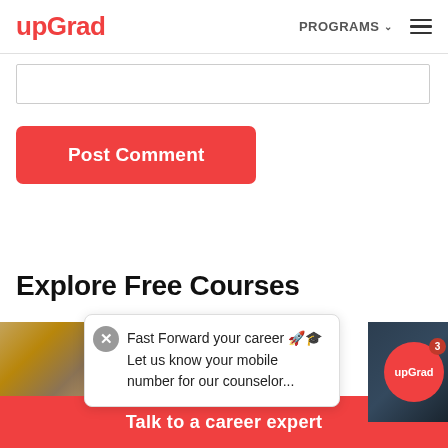upGrad  PROGRAMS
[Figure (screenshot): Comment text input box (partially visible, empty)]
[Figure (screenshot): Post Comment button - red rounded rectangle with white bold text]
Explore Free Courses
[Figure (screenshot): Popup notification: 'Fast Forward your career 🚀🎓 Let us know your mobile number for our counselor...' with close X button]
[Figure (photo): Left course card thumbnail - golden/brown objects image]
[Figure (logo): upGrad circular badge on dark background, notification count 3]
Talk to a career expert